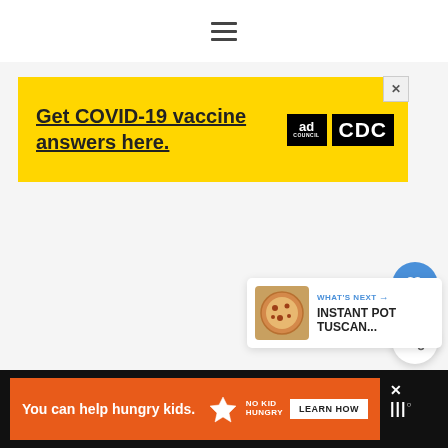☰ (hamburger menu icon)
[Figure (screenshot): Yellow advertisement banner: 'Get COVID-19 vaccine answers here.' with Ad Council and CDC logos, and a close X button]
[Figure (infographic): Floating blue heart/like button (FAB)]
[Figure (infographic): Floating white share button (FAB) with share icon]
[Figure (screenshot): What's Next panel showing a pizza thumbnail and text 'WHAT'S NEXT → INSTANT POT TUSCAN...']
[Figure (screenshot): Bottom orange advertisement bar: 'You can help hungry kids.' with No Kid Hungry logo and LEARN HOW button, on black background with Tastemade logo at right]